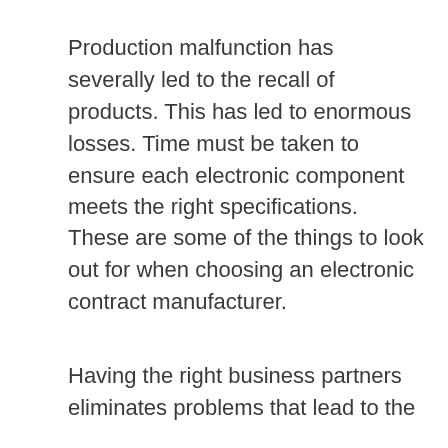Production malfunction has severally led to the recall of products. This has led to enormous losses. Time must be taken to ensure each electronic component meets the right specifications.
These are some of the things to look out for when choosing an electronic contract manufacturer.
Having the right business partners eliminates problems that lead to the